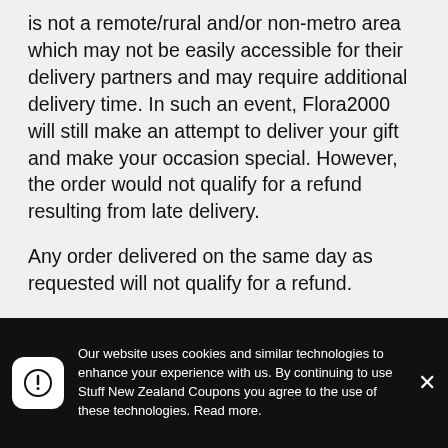is not a remote/rural and/or non-metro area which may not be easily accessible for their delivery partners and may require additional delivery time. In such an event, Flora2000 will still make an attempt to deliver your gift and make your occasion special. However, the order would not qualify for a refund resulting from late delivery.
Any order delivered on the same day as requested will not qualify for a refund.
When will I receive my refund?
Refunds will be carried out within 7 working days once one of the above-mentioned criteria
Our website uses cookies and similar technologies to enhance your experience with us. By continuing to use Stuff New Zealand Coupons you agree to the use of these technologies. Read more.